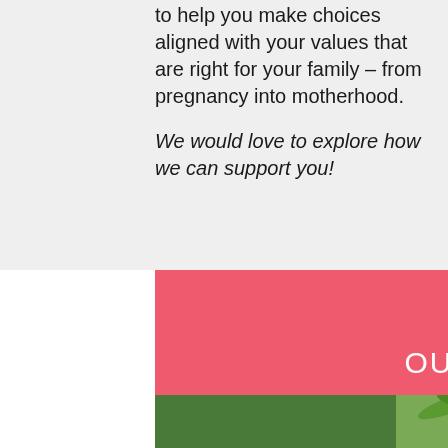to help you make choices aligned with your values that are right for your family – from pregnancy into motherhood.
We would love to explore how we can support you!
OUR OFFERINGS
[Figure (photo): Two women standing outdoors among tropical palm trees, seen from the waist up, partially cropped at the bottom of the page.]